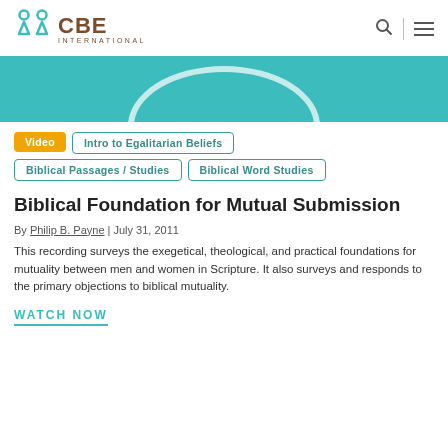[Figure (logo): CBE International logo with teal icon and brown text]
[Figure (illustration): Teal hero banner with white arc shape at bottom]
Video
Intro to Egalitarian Beliefs
Biblical Passages / Studies
Biblical Word Studies
Biblical Foundation for Mutual Submission
By Philip B. Payne | July 31, 2011
This recording surveys the exegetical, theological, and practical foundations for mutuality between men and women in Scripture. It also surveys and responds to the primary objections to biblical mutuality.
WATCH NOW